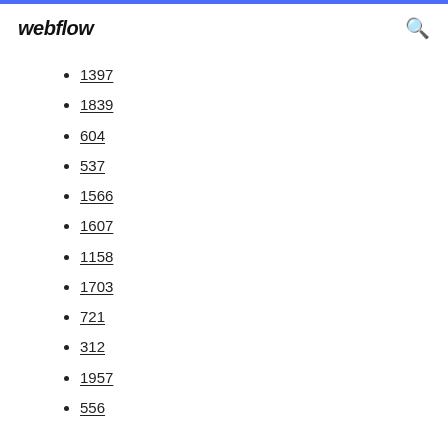webflow
1397
1839
604
537
1566
1607
1158
1703
721
312
1957
556